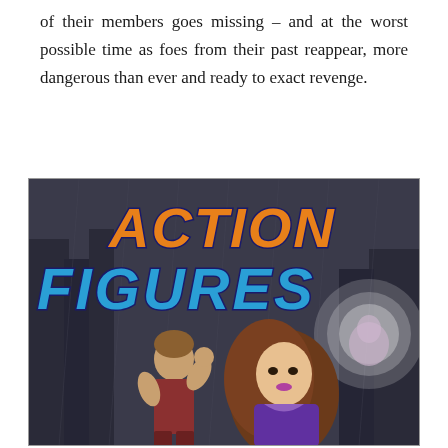of their members goes missing – and at the worst possible time as foes from their past reappear, more dangerous than ever and ready to exact revenge.
[Figure (illustration): Comic book cover titled 'ACTION FIGURES' featuring bold orange and blue stylized lettering. Below the title are illustrated characters: a male superhero in a fighting pose on the left, and a female character with long brown hair on the right wearing a purple outfit. The background shows a dark city scene. A glowing orb/light appears in the upper right area.]